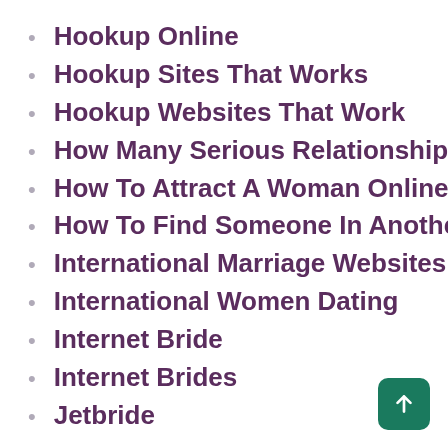Hookup Online
Hookup Sites That Works
Hookup Websites That Work
How Many Serious Relationships Before Marriage
How To Attract A Woman Online Dating
How To Find Someone In Another Country
International Marriage Websites
International Women Dating
Internet Bride
Internet Brides
Jetbride